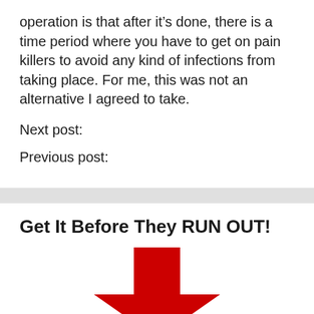operation is that after it's done, there is a time period where you have to get on pain killers to avoid any kind of infections from taking place. For me, this was not an alternative I agreed to take.
Next post:
Previous post:
Get It Before They RUN OUT!
[Figure (illustration): Large red downward-pointing arrow icon]